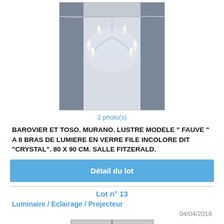[Figure (photo): Photo of a Murano glass chandelier with 8 arms, clear crystal style, hanging from ceiling in a room with grey drapes]
2 photo(s)
BAROVIER ET TOSO. MURANO. LUSTRE MODELE " FAUVE " A 8 BRAS DE LUMIERE EN VERRE FILE INCOLORE DIT "CRYSTAL". 80 X 90 CM. SALLE FITZERALD.
Détail du lot
Lot n° 13
Luminaire / Eclairage / Projecteur
04/04/2018
[Figure (photo): Partial photo of a lamp or light fixture, grey background, showing top portion]